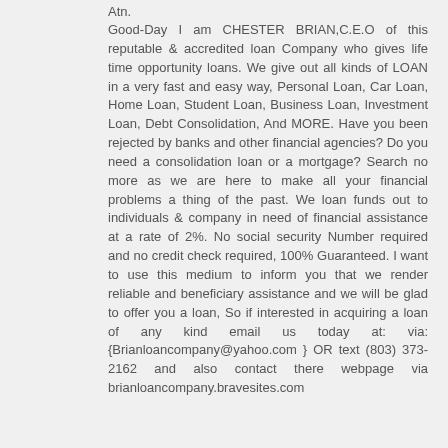Atn. Good-Day I am CHESTER BRIAN,C.E.O of this reputable & accredited loan Company who gives life time opportunity loans. We give out all kinds of LOAN in a very fast and easy way, Personal Loan, Car Loan, Home Loan, Student Loan, Business Loan, Investment Loan, Debt Consolidation, And MORE. Have you been rejected by banks and other financial agencies? Do you need a consolidation loan or a mortgage? Search no more as we are here to make all your financial problems a thing of the past. We loan funds out to individuals & company in need of financial assistance at a rate of 2%. No social security Number required and no credit check required, 100% Guaranteed. I want to use this medium to inform you that we render reliable and beneficiary assistance and we will be glad to offer you a loan, So if interested in acquiring a loan of any kind email us today at: via: {Brianloancompany@yahoo.com } OR text (803) 373-2162 and also contact there webpage via brianloancompany.bravesites.com